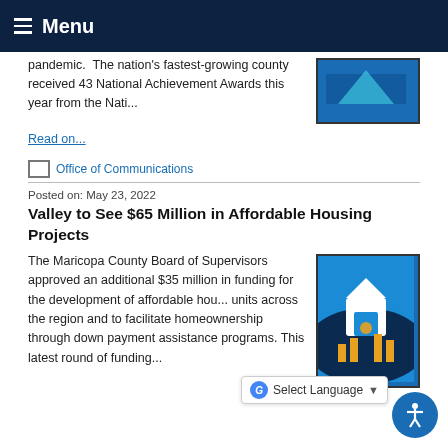Menu
pandemic. The nation's fastest-growing county received 43 National Achievement Awards this year from the Nati...
Read on...
Office of Communications
Posted on: May 23, 2022
Valley to See $65 Million in Affordable Housing Projects
The Maricopa County Board of Supervisors approved an additional $35 million in funding for the development of affordable housing units across the region and to facilitate homeownership through down payment assistance programs. This latest round of funding...